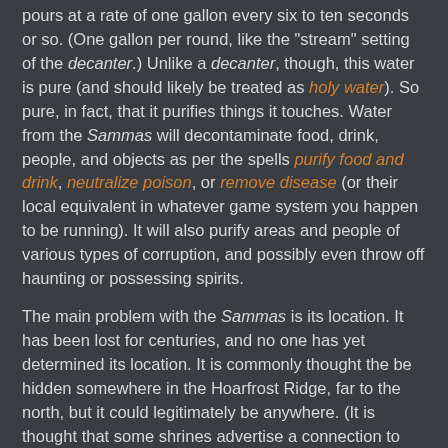pours at a rate of one gallon every six to ten seconds or so. (One gallon per round, like the "stream" setting of the decanter.) Unlike a decanter, though, this water is pure (and should likely be treated as holy water). So pure, in fact, that it purifies things it touches. Water from the Sammas will decontaminate food, drink, people, and objects as per the spells purify food and drink, neutralize poison, or remove disease (or their local equivalent in whatever game system you happen to be running). It will also purify areas and people of various types of corruption, and possibly even throw off haunting or possessing spirits.
The main problem with the Sammas is its location. It has been lost for centuries, and no one has yet determined its location. It is commonly thought the be hidden somewhere in the Hoarfrost Ridge, far to the north, but it could legitimately be anywhere. (It is thought that some shrines advertise a connection to the Sammas either as an attraction to bring pilgrims or as a trap for the unwary.)
The last person to seek the Sammas was the fey noble, Lady Graupwon, who departed with a retinue of elves to